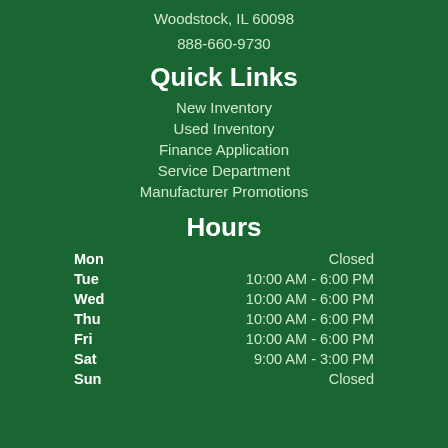Woodstock, IL 60098
888-660-9730
Quick Links
New Inventory
Used Inventory
Finance Application
Service Department
Manufacturer Promotions
Hours
| Day | Hours |
| --- | --- |
| Mon | Closed |
| Tue | 10:00 AM - 6:00 PM |
| Wed | 10:00 AM - 6:00 PM |
| Thu | 10:00 AM - 6:00 PM |
| Fri | 10:00 AM - 6:00 PM |
| Sat | 9:00 AM - 3:00 PM |
| Sun | Closed |